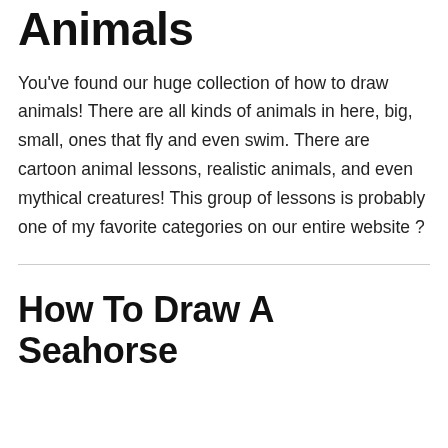Animals
You've found our huge collection of how to draw animals! There are all kinds of animals in here, big, small, ones that fly and even swim. There are cartoon animal lessons, realistic animals, and even mythical creatures! This group of lessons is probably one of my favorite categories on our entire website ?
How To Draw A Seahorse